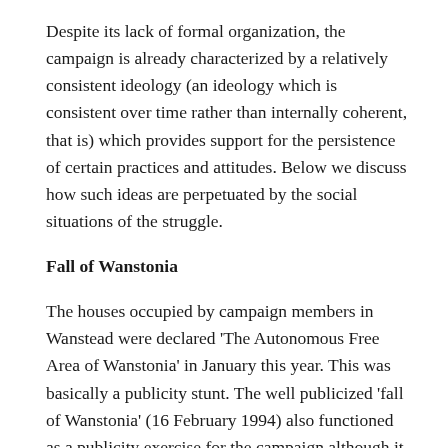Despite its lack of formal organization, the campaign is already characterized by a relatively consistent ideology (an ideology which is consistent over time rather than internally coherent, that is) which provides support for the persistence of certain practices and attitudes. Below we discuss how such ideas are perpetuated by the social situations of the struggle.
Fall of Wanstonia
The houses occupied by campaign members in Wanstead were declared 'The Autonomous Free Area of Wanstonia' in January this year. This was basically a publicity stunt. The well publicized 'fall of Wanstonia' (16 February 1994) also functioned as a publicity exercise for the campaign although it was at the same time a serious, committed and often courageous